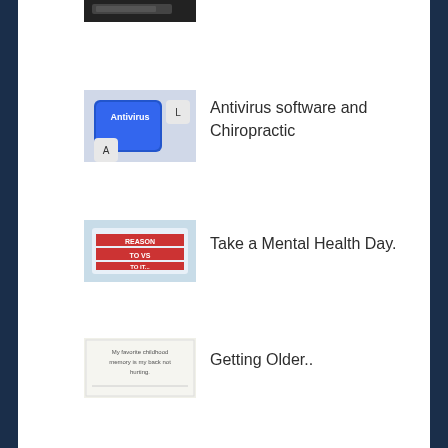[Figure (photo): Partially visible dark image at top of page]
[Figure (photo): Close-up of keyboard keys with blue Antivirus key]
Antivirus software and Chiropractic
[Figure (photo): Sign or label reading related to mental health]
Take a Mental Health Day.
[Figure (photo): Text image: My favorite childhood memory is my back not hurting.]
Getting Older..